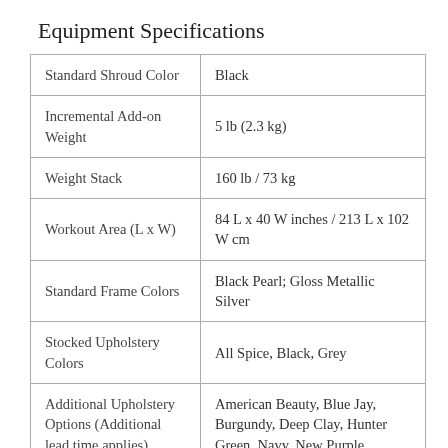Equipment Specifications
| Standard Shroud Color | Black |
| Incremental Add-on Weight | 5 lb (2.3 kg) |
| Weight Stack | 160 lb / 73 kg |
| Workout Area (L x W) | 84 L x 40 W inches / 213 L x 102 W cm |
| Standard Frame Colors | Black Pearl; Gloss Metallic Silver |
| Stocked Upholstery Colors | All Spice, Black, Grey |
| Additional Upholstery Options (Additional lead time applies) | American Beauty, Blue Jay, Burgundy, Deep Clay, Hunter Green, Navy, New Purple, |